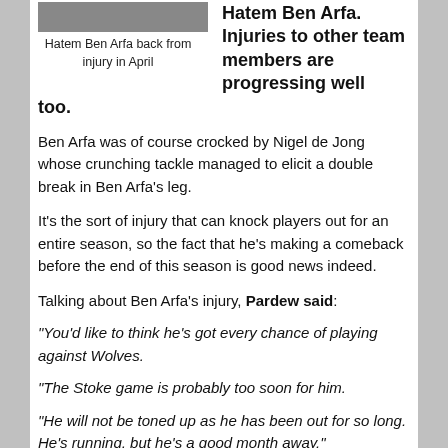[Figure (photo): Photo of Hatem Ben Arfa back from injury in April]
Hatem Ben Arfa back from injury in April
Hatem Ben Arfa. Injuries to other team members are progressing well too.
Ben Arfa was of course crocked by Nigel de Jong whose crunching tackle managed to elicit a double break in Ben Arfa's leg.
It's the sort of injury that can knock players out for an entire season, so the fact that he's making a comeback before the end of this season is good news indeed.
Talking about Ben Arfa's injury, Pardew said:
“You’d like to think he’s got every chance of playing against Wolves.
“The Stoke game is probably too soon for him.
“He will not be toned up as he has been out for so long. He's running, but he’s a good month away.”
Meanwhile, Shola has had his face mask fitted in